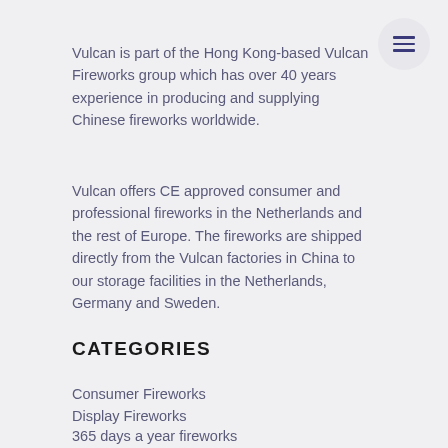Vulcan is part of the Hong Kong-based Vulcan Fireworks group which has over 40 years experience in producing and supplying Chinese fireworks worldwide.
Vulcan offers CE approved consumer and professional fireworks in the Netherlands and the rest of Europe. The fireworks are shipped directly from the Vulcan factories in China to our storage facilities in the Netherlands, Germany and Sweden.
CATEGORIES
Consumer Fireworks
Display Fireworks
365 days a year fireworks
Non-Fireworks